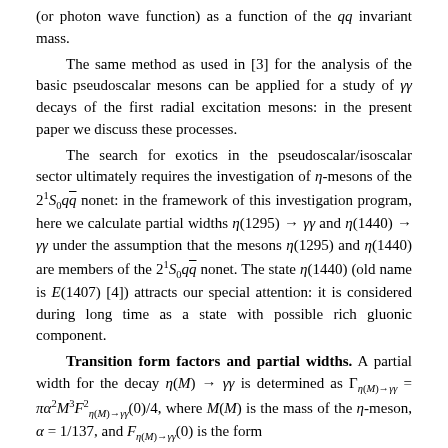(or photon wave function) as a function of the qq invariant mass.
The same method as used in [3] for the analysis of the basic pseudoscalar mesons can be applied for a study of γγ decays of the first radial excitation mesons: in the present paper we discuss these processes.
The search for exotics in the pseudoscalar/isoscalar sector ultimately requires the investigation of η-mesons of the 2^1 S_0 qq-bar nonet: in the framework of this investigation program, here we calculate partial widths η(1295) → γγ and η(1440) → γγ under the assumption that the mesons η(1295) and η(1440) are members of the 2^1 S_0 qq-bar nonet. The state η(1440) (old name is E(1407) [4]) attracts our special attention: it is considered during long time as a state with possible rich gluonic component.
Transition form factors and partial widths.
A partial width for the decay η(M) → γγ is determined as Γ_{η(M)→γγ} = πα²M³F²_{η(M)→γγ}(0)/4, where M(M) is the mass of the η-meson, α = 1/137, and F_{η(M)→γγ}(0) is the form